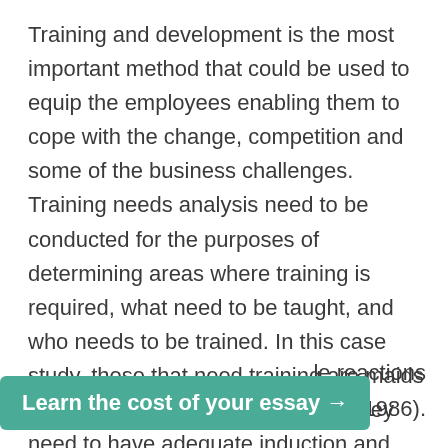Training and development is the most important method that could be used to equip the employees enabling them to cope with the change, competition and some of the business challenges. Training needs analysis need to be conducted for the purposes of determining areas where training is required, what need to be taught, and who needs to be trained. In this case study, those that need training are maids manning the front office section. They need to have adequate induction and proper training with respect to their work. Induction should be implemented in the hotel for the purposes of educating staff members and giving them basic knowledge necessary for running the organization. In the process of induction the management should monitor and check closely the abilities of the new [partially obscured] le reactions [partially obscured] lander, 1986).
[Figure (infographic): A green call-to-action banner button reading 'Learn the cost of your essay →' overlapping the bottom of the text paragraph]